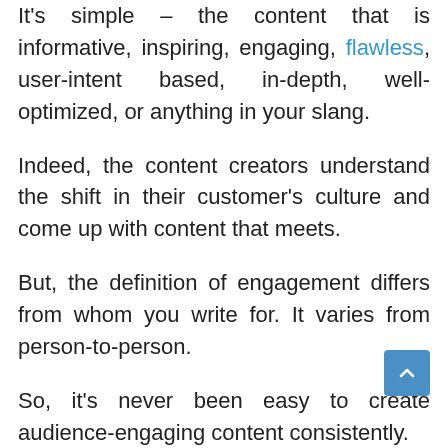It's simple – the content that is informative, inspiring, engaging, flawless, user-intent based, in-depth, well-optimized, or anything in your slang.
Indeed, the content creators understand the shift in their customer's culture and come up with content that meets.
But, the definition of engagement differs from whom you write for. It varies from person-to-person.
So, it's never been easy to create audience-engaging content consistently.
Do you feel that you are helpless since the content is the only stone you have to throw at